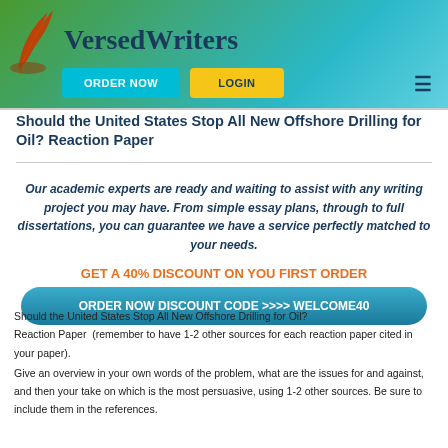VersedWriters
Should the United States Stop All New Offshore Drilling for Oil? Reaction Paper
Our academic experts are ready and waiting to assist with any writing project you may have. From simple essay plans, through to full dissertations, you can guarantee we have a service perfectly matched to your needs.
GET A 40% DISCOUNT ON YOU FIRST ORDER
ORDER NOW DISCOUNT CODE >>>> WELCOME40
Should the United States Stop All New Offshore Drilling for Oil?
Reaction Paper  (remember to have 1-2 other sources for each reaction paper cited in your paper).
Give an overview in your own words of the problem, what are the issues for and against, and then your take on which is the most persuasive, using 1-2 other sources. Be sure to include them in the references.